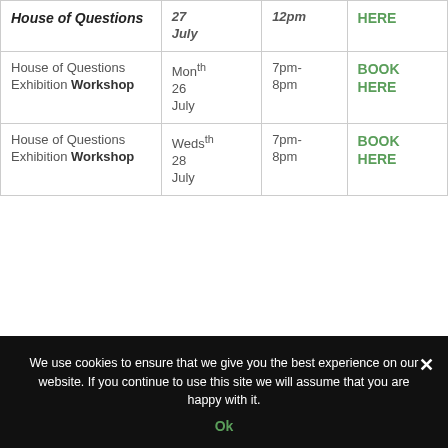| Event | Date | Time | Book |
| --- | --- | --- | --- |
| House of Questions | 27 July | 12pm | HERE |
| House of Questions Exhibition Workshop | Mon th 26 July | 7pm-8pm | BOOK HERE |
| House of Questions Exhibition Workshop | Weds th 28 July | 7pm-8pm | BOOK HERE |
We use cookies to ensure that we give you the best experience on our website. If you continue to use this site we will assume that you are happy with it.
Ok